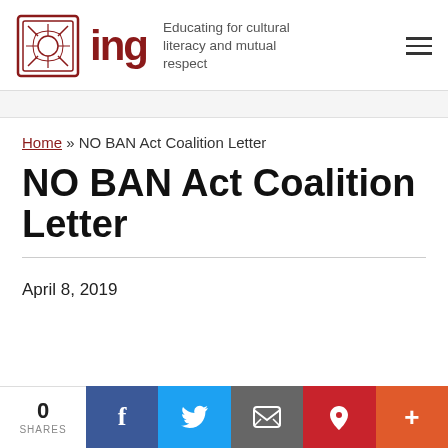ing — Educating for cultural literacy and mutual respect
Home » NO BAN Act Coalition Letter
NO BAN Act Coalition Letter
April 8, 2019
0 SHARES